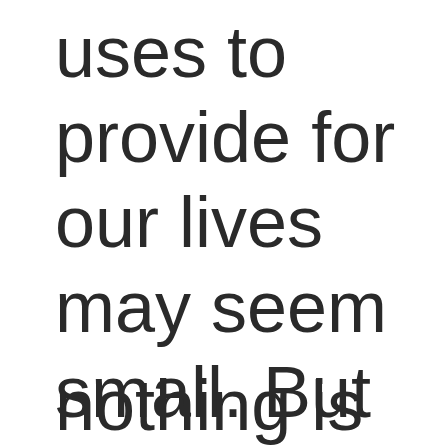uses to provide for our lives may seem small. But be assured, nothing is